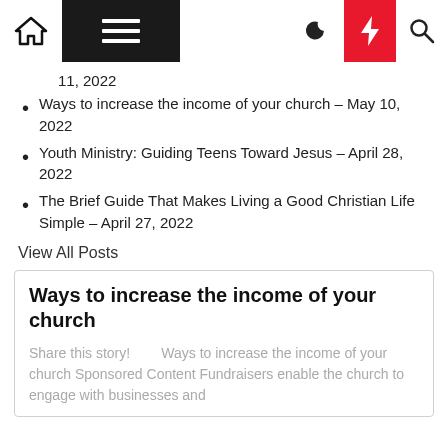Navigation bar with home, menu, moon, bolt, and search icons
11, 2022 (truncated date)
Ways to increase the income of your church – May 10, 2022
Youth Ministry: Guiding Teens Toward Jesus – April 28, 2022
The Brief Guide That Makes Living a Good Christian Life Simple – April 27, 2022
View All Posts
Ways to increase the income of your church
Share this story!        Ways to increase the income of your church Sponsored Content Fundraisers enable the church to engage with businesses and